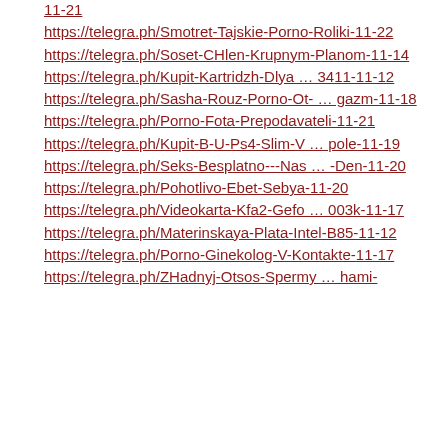11-21
https://telegra.ph/Smotret-Tajskie-Porno-Roliki-11-22
https://telegra.ph/Soset-CHlen-Krupnym-Planom-11-14
https://telegra.ph/Kupit-Kartridzh-Dlya … 3411-11-12
https://telegra.ph/Sasha-Rouz-Porno-Ot- … gazm-11-18
https://telegra.ph/Porno-Fota-Prepodavateli-11-21
https://telegra.ph/Kupit-B-U-Ps4-Slim-V … pole-11-19
https://telegra.ph/Seks-Besplatno---Nas … -Den-11-20
https://telegra.ph/Pohotlivo-Ebet-Sebya-11-20
https://telegra.ph/Videokarta-Kfa2-Gefo … 003k-11-17
https://telegra.ph/Materinskaya-Plata-Intel-B85-11-12
https://telegra.ph/Porno-Ginekolog-V-Kontakte-11-17
https://telegra.ph/ZHadnyj-Otsos-Spermy … hami-